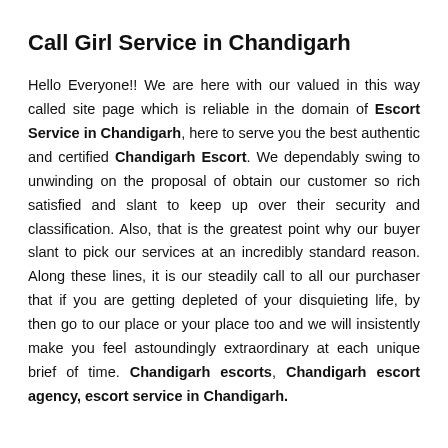Call Girl Service in Chandigarh
Hello Everyone!! We are here with our valued in this way called site page which is reliable in the domain of Escort Service in Chandigarh, here to serve you the best authentic and certified Chandigarh Escort. We dependably swing to unwinding on the proposal of obtain our customer so rich satisfied and slant to keep up over their security and classification. Also, that is the greatest point why our buyer slant to pick our services at an incredibly standard reason. Along these lines, it is our steadily call to all our purchaser that if you are getting depleted of your disquieting life, by then go to our place or your place too and we will insistently make you feel astoundingly extraordinary at each unique brief of time. Chandigarh escorts, Chandigarh escort agency, escort service in Chandigarh.